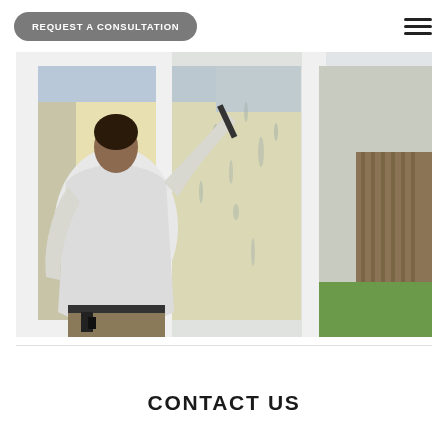REQUEST A CONSULTATION
[Figure (photo): A person in a white t-shirt seen from behind, installing or cleaning a large white-framed window, with a suburban house and backyard visible through the glass.]
CONTACT US